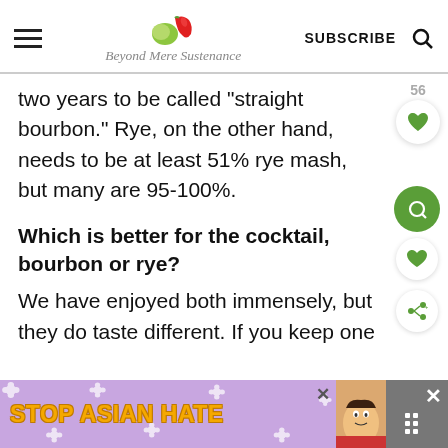Beyond Mere Sustenance | SUBSCRIBE
two years to be called "straight bourbon." Rye, on the other hand, needs to be at least 51% rye mash, but many are 95-100%.
Which is better for the cocktail, bourbon or rye?
We have enjoyed both immensely, but they do taste different. If you keep one
[Figure (other): STOP ASIAN HATE advertisement banner with purple floral background, orange bold text, woman cartoon face, and close/dark buttons on the right]